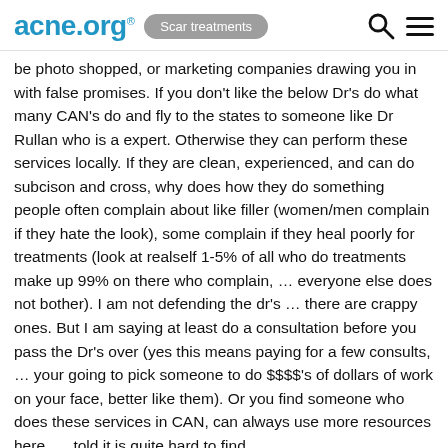acne.org® | Scar treatments
be photo shopped, or marketing companies drawing you in with false promises. If you don't like the below Dr's do what many CAN's do and fly to the states to someone like Dr Rullan who is a expert. Otherwise they can perform these services locally. If they are clean, experienced, and can do subcison and cross, why does how they do something people often complain about like filler (women/men complain if they hate the look), some complain if they heal poorly for treatments (look at realself 1-5% of all who do treatments make up 99% on there who complain, ... everyone else does not bother). I am not defending the dr's ... there are crappy ones. But I am saying at least do a consultation before you pass the Dr's over (yes this means paying for a few consults, ... your going to pick someone to do $$$$'s of dollars of work on your face, better like them). Or you find someone who does these services in CAN, can always use more resources here, ... told it is quite hard to find.
** Please Note I offer to acne scar suffers a "more" "customized" (private) consultation than the above general advice. Analysis, answering questions, ongoing support by